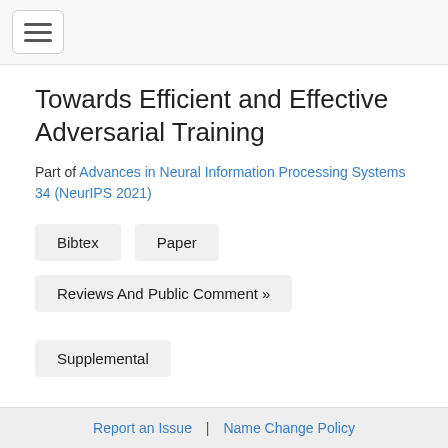Towards Efficient and Effective Adversarial Training
Part of Advances in Neural Information Processing Systems 34 (NeurIPS 2021)
Bibtex
Paper
Reviews And Public Comment »
Supplemental
Authors
Report an Issue | Name Change Policy